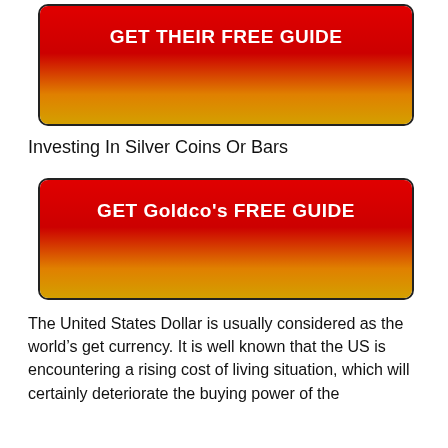[Figure (other): Red and gold gradient button with bold white text reading GET THEIR FREE GUIDE]
Investing In Silver Coins Or Bars
[Figure (other): Red and gold gradient button with bold white text reading GET Goldco's FREE GUIDE]
The United States Dollar is usually considered as the world’s get currency. It is well known that the US is encountering a rising cost of living situation, which will certainly deteriorate the buying power of the